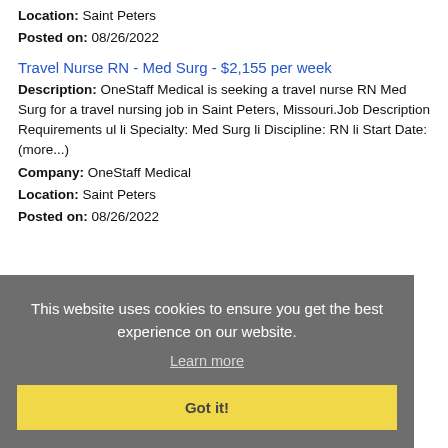Location: Saint Peters
Posted on: 08/26/2022
Travel Nurse RN - Med Surg - $2,155 per week
Description: OneStaff Medical is seeking a travel nurse RN Med Surg for a travel nursing job in Saint Peters, Missouri.Job Description Requirements ul li Specialty: Med Surg li Discipline: RN li Start Date: (more...)
Company: OneStaff Medical
Location: Saint Peters
Posted on: 08/26/2022
This website uses cookies to ensure you get the best experience on our website.
Learn more
Got it!